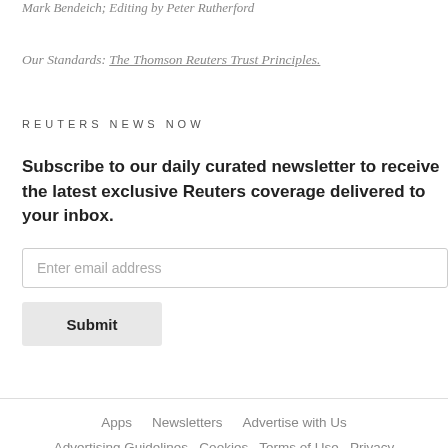Mark Bendeich; Editing by Peter Rutherford
Our Standards: The Thomson Reuters Trust Principles.
REUTERS NEWS NOW
Subscribe to our daily curated newsletter to receive the latest exclusive Reuters coverage delivered to your inbox.
Enter email address
Submit
Apps   Newsletters   Advertise with Us